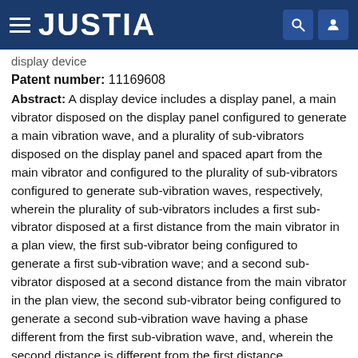JUSTIA
display device
Patent number: 11169608
Abstract: A display device includes a display panel, a main vibrator disposed on the display panel configured to generate a main vibration wave, and a plurality of sub-vibrators disposed on the display panel and spaced apart from the main vibrator and configured to the plurality of sub-vibrators configured to generate sub-vibration waves, respectively, wherein the plurality of sub-vibrators includes a first sub-vibrator disposed at a first distance from the main vibrator in a plan view, the first sub-vibrator being configured to generate a first sub-vibration wave; and a second sub-vibrator disposed at a second distance from the main vibrator in the plan view, the second sub-vibrator being configured to generate a second sub-vibration wave having a phase different from the first sub-vibration wave, and, wherein the second distance is different from the first distance